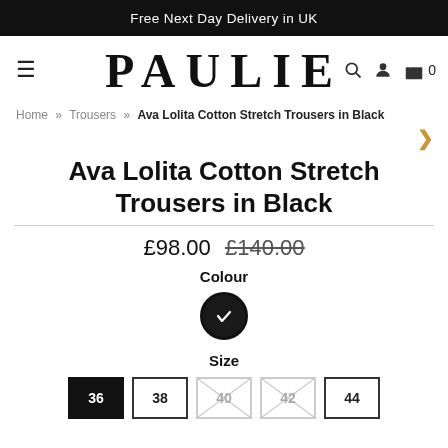Free Next Day Delivery in UK
[Figure (logo): PAULIE brand logo with hamburger menu, search, account, and cart icons]
Home » Trousers » Ava Lolita Cotton Stretch Trousers in Black
Ava Lolita Cotton Stretch Trousers in Black
£98.00 £140.00
Colour
[Figure (other): Black colour swatch circle with checkmark]
Size
36 | 38 | 40 (unavailable) | 42 (unavailable) | 44